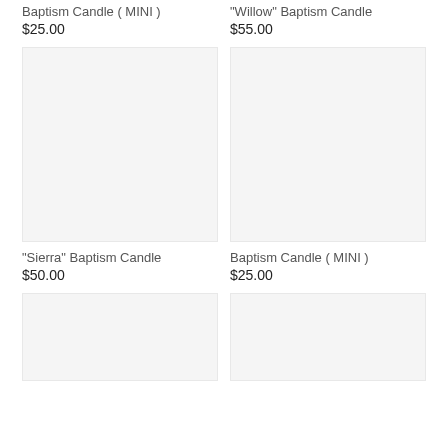Baptism Candle ( MINI )
$25.00
"Willow" Baptism Candle
$55.00
[Figure (photo): Product image placeholder for Sierra Baptism Candle]
[Figure (photo): Product image placeholder for Baptism Candle MINI]
"Sierra" Baptism Candle
$50.00
Baptism Candle ( MINI )
$25.00
[Figure (photo): Product image placeholder bottom left]
[Figure (photo): Product image placeholder bottom right]